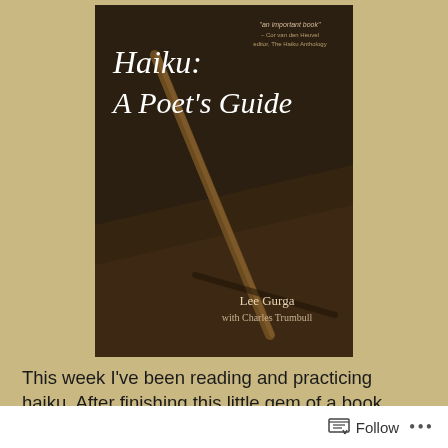[Figure (illustration): Book cover of 'Haiku: A Poet's Guide' by Lee Gurga with Charles Trumbull. Dark brown background with a diagonal staff/stick across the cover. White script title text at top left, author name at bottom right. Quote at top right: 'an important book' - Cor van den Heuvel, editor, The Haiku Anthology.]
This week I've been reading and practicing haiku. After finishing this little gem of a book, filled with examples